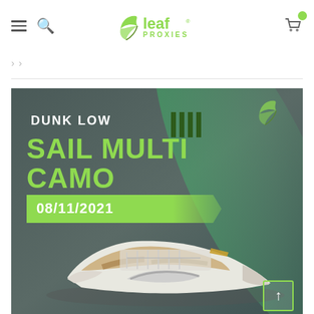[Figure (logo): Leaf Proxies logo — green leaf with stylized R and 'leaf PROXIES' text in green]
[Figure (screenshot): Nike Dunk Low Sail Multi Camo sneaker release card. Dark greenish-gray background with green light beam. Text: DUNK LOW / SAIL MULTI CAMO / 08/11/2021. Shows a white/camo Nike Dunk Low sneaker. Leaf Proxies watermark logo in top right corner. Back-to-top arrow button in bottom right.]